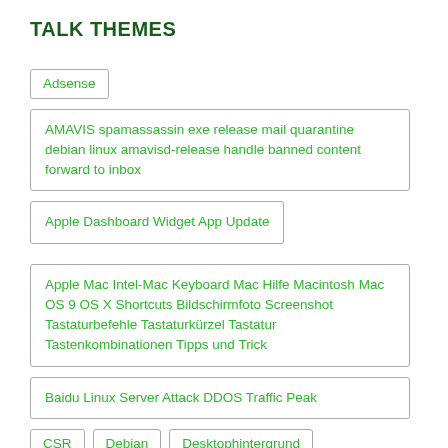TALK THEMES
Adsense
AMAVIS spamassassin exe release mail quarantine debian linux amavisd-release handle banned content forward to inbox
Apple Dashboard Widget App Update
Apple Mac Intel-Mac Keyboard Mac Hilfe Macintosh Mac OS 9 OS X Shortcuts Bildschirmfoto Screenshot Tastaturbefehle Tastaturkürzel Tastatur Tastenkombinationen Tipps und Trick
Baidu Linux Server Attack DDOS Traffic Peak
CSR
Debian
Desktophintergrund
Dual-Monitor
Dual Screen
E72